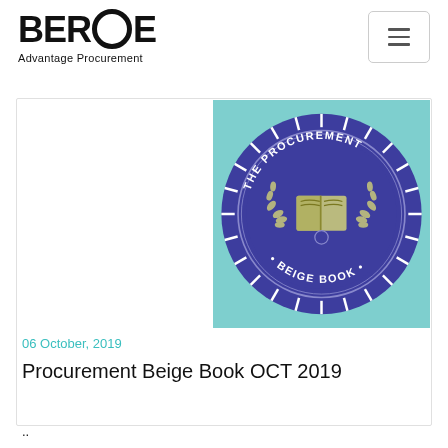BEROE Advantage Procurement
[Figure (logo): Beige Book procurement badge/seal on teal background: circular purple badge with text 'THE PROCUREMENT BEIGE BOOK' and an open book icon in the center with laurel wreath]
06 October, 2019
Procurement Beige Book OCT 2019
..